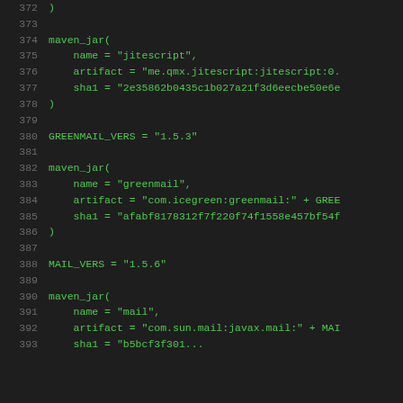372    )
373
374    maven_jar(
375        name = "jitescript",
376        artifact = "me.qmx.jitescript:jitescript:0.
377        sha1 = "2e35862b0435c1b027a21f3d6eecbe50e6e
378    )
379
380    GREENMAIL_VERS = "1.5.3"
381
382    maven_jar(
383        name = "greenmail",
384        artifact = "com.icegreen:greenmail:" + GREE
385        sha1 = "afabf8178312f7f220f74f1558e457bf54f
386    )
387
388    MAIL_VERS = "1.5.6"
389
390    maven_jar(
391        name = "mail",
392        artifact = "com.sun.mail:javax.mail:" + MAI
393        sha1 = "b5bc f3f301...